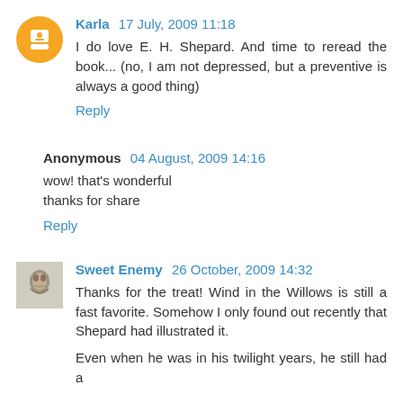Karla 17 July, 2009 11:18
I do love E. H. Shepard. And time to reread the book... (no, I am not depressed, but a preventive is always a good thing)
Reply
Anonymous 04 August, 2009 14:16
wow! that's wonderful
thanks for share
Reply
Sweet Enemy 26 October, 2009 14:32
Thanks for the treat! Wind in the Willows is still a fast favorite. Somehow I only found out recently that Shepard had illustrated it.
Even when he was in his twilight years, he still had a